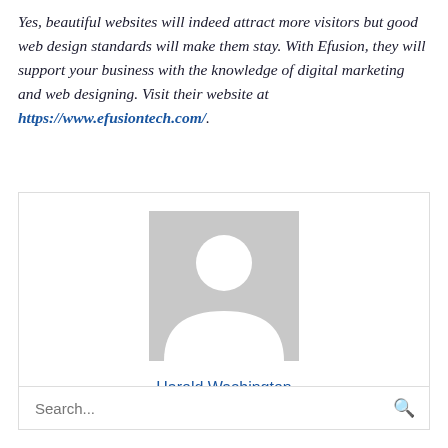Yes, beautiful websites will indeed attract more visitors but good web design standards will make them stay. With Efusion, they will support your business with the knowledge of digital marketing and web designing. Visit their website at https://www.efusiontech.com/.
[Figure (illustration): Author avatar placeholder — grey square with white silhouette of a person (head circle and body arc), below which the name Harold Washington is shown in blue.]
Harold Washington
Search...